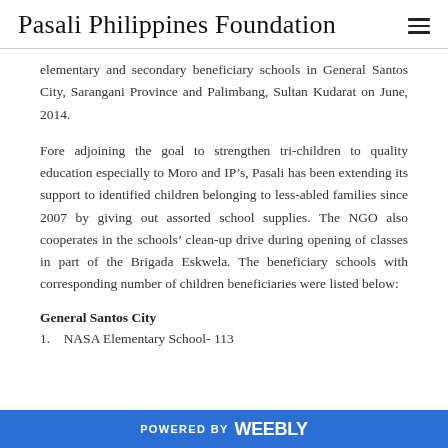Pasali Philippines Foundation
elementary and secondary beneficiary schools in General Santos City, Sarangani Province and Palimbang, Sultan Kudarat on June, 2014.
Fore adjoining the goal to strengthen tri-children to quality education especially to Moro and IP’s, Pasali has been extending its support to identified children belonging to less-abled families since 2007 by giving out assorted school supplies. The NGO also cooperates in the schools’ clean-up drive during opening of classes in part of the Brigada Eskwela. The beneficiary schools with corresponding number of children beneficiaries were listed below:
General Santos City
1.    NASA Elementary School- 113
POWERED BY weebly